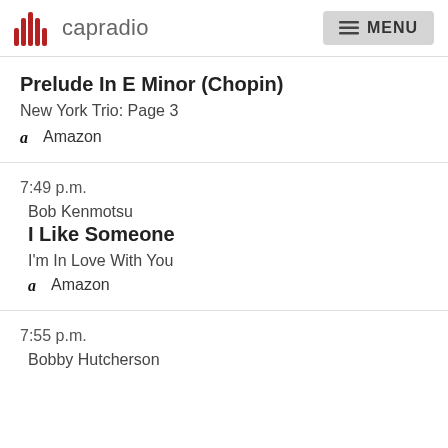capradio  MENU
Prelude In E Minor (Chopin)
New York Trio: Page 3
Amazon
7:49 p.m.
Bob Kenmotsu
I Like Someone
I'm In Love With You
Amazon
7:55 p.m.
Bobby Hutcherson